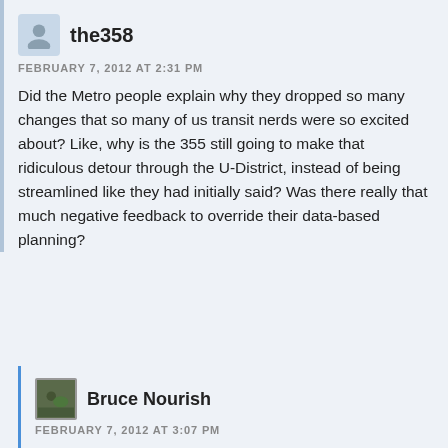the358
FEBRUARY 7, 2012 AT 2:31 PM
Did the Metro people explain why they dropped so many changes that so many of us transit nerds were so excited about? Like, why is the 355 still going to make that ridiculous detour through the U-District, instead of being streamlined like they had initially said? Was there really that much negative feedback to override their data-based planning?
Bruce Nourish
FEBRUARY 7, 2012 AT 3:07 PM